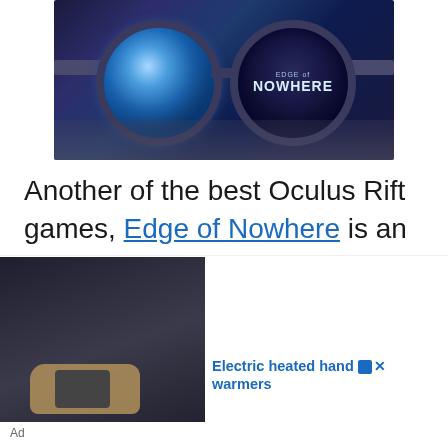[Figure (photo): Close-up of a person wearing large circular ski goggles. The left goggle shows a blue icy landscape reflection, the right goggle displays the text 'EDGE of NOWHERE'. The face appears frost-covered or textured.]
Another of the best Oculus Rift games, Edge of Nowhere is an adventure platformer with horror elements. The main character's quest is to find and
[Figure (photo): Advertisement image showing a hand holding a small device, with text 'Electric heated hand warmers' and an ad label.]